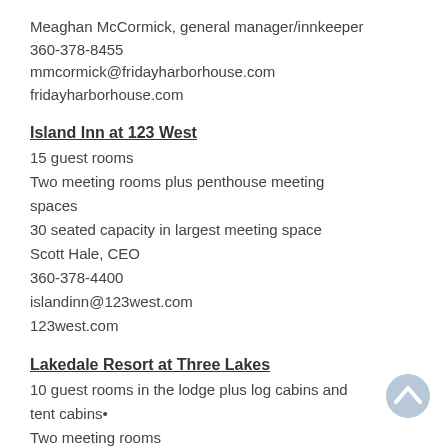Meaghan McCormick, general manager/innkeeper
360-378-8455
mmcormick@fridayharborhouse.com
fridayharborhouse.com
Island Inn at 123 West
15 guest rooms
Two meeting rooms plus penthouse meeting spaces
30 seated capacity in largest meeting space
Scott Hale, CEO
360-378-4400
islandinn@123west.com
123west.com
Lakedale Resort at Three Lakes
10 guest rooms in the lodge plus log cabins and tent cabins•
Two meeting rooms